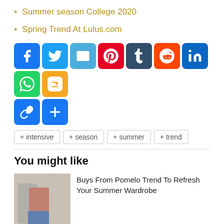Summer season College 2020
Spring Trend At Lulus.com
[Figure (infographic): Row of social media share buttons: Facebook, Twitter, Email, Pinterest, Tumblr, Reddit, LinkedIn, WhatsApp, Blogger, Copy Link, Share More]
intensive
season
summer
trend
You might like
[Figure (photo): Fashion outfit photo showing a salmon/mauve top with grey cardigan and blue jeans with brown boots]
Buys From Pomelo Trend To Refresh Your Summer Wardrobe
The 5 Biggest Developments Of Summer